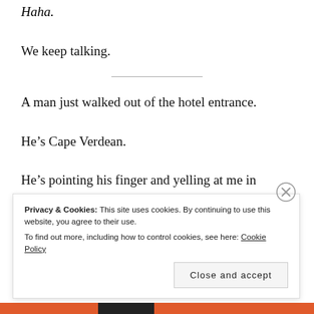Haha.
We keep talking.
A man just walked out of the hotel entrance.
He's Cape Verdean.
He's pointing his finger and yelling at me in Creole.
Hm. I wonder what's going on.
Privacy & Cookies: This site uses cookies. By continuing to use this website, you agree to their use. To find out more, including how to control cookies, see here: Cookie Policy
Close and accept